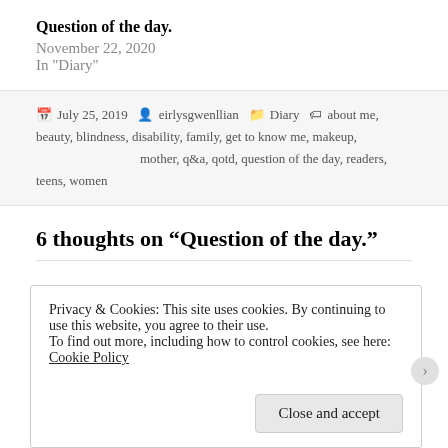Question of the day.
November 22, 2020
In "Diary"
July 25, 2019  eirlysgwenllian  Diary  about me, beauty, blindness, disability, family, get to know me, makeup, mother, q&a, qotd, question of the day, readers, teens, women
6 thoughts on “Question of the day.”
Privacy & Cookies: This site uses cookies. By continuing to use this website, you agree to their use.
To find out more, including how to control cookies, see here: Cookie Policy
Close and accept